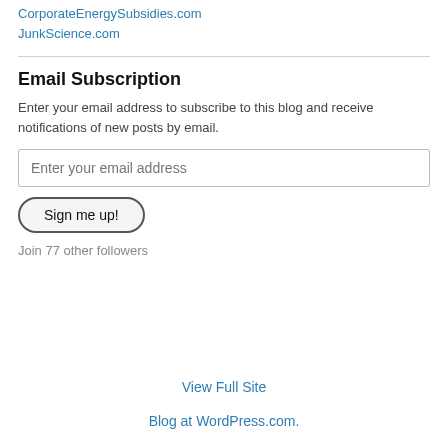CorporateEnergySubsidies.com
JunkScience.com
Email Subscription
Enter your email address to subscribe to this blog and receive notifications of new posts by email.
Enter your email address
Sign me up!
Join 77 other followers
View Full Site
Blog at WordPress.com.